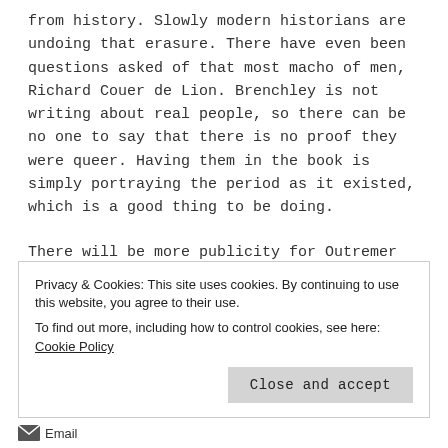from history. Slowly modern historians are undoing that erasure. There have even been questions asked of that most macho of men, Richard Couer de Lion. Brenchley is not writing about real people, so there can be no one to say that there is no proof they were queer. Having them in the book is simply portraying the period as it existed, which is a good thing to be doing.
There will be more publicity for Outremer in the coming weeks. I very much hope that the books manage to find a new audience.
Privacy & Cookies: This site uses cookies. By continuing to use this website, you agree to their use.
To find out more, including how to control cookies, see here: Cookie Policy